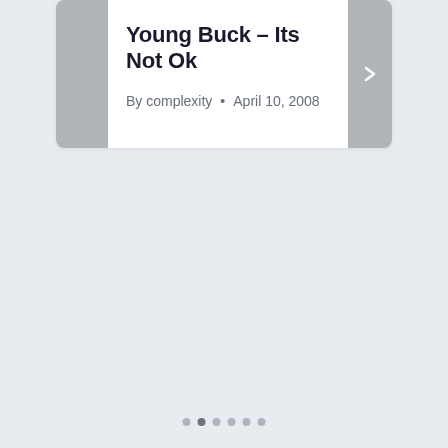Young Buck – Its Not Ok
By complexity  •  April 10, 2008